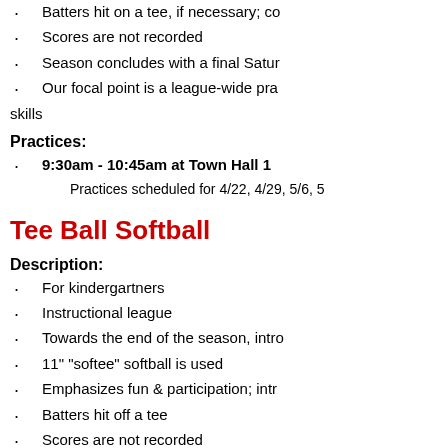Batters hit on a tee, if necessary; co
Scores are not recorded
Season concludes with a final Satur
Our focal point is a league-wide pra skills
Practices:
9:30am - 10:45am at Town Hall 1
Practices scheduled for 4/22, 4/29, 5/6, 5
Tee Ball Softball
Description:
For kindergartners
Instructional league
Towards the end of the season, intro
11" "softee" softball is used
Emphasizes fun & participation; intr
Batters hit off a tee
Scores are not recorded
Season concludes with a final Satur
Our focal point is a league-wide pra hitting, throwing & catching skills
Practices:
8:30am - 9:30am at Town Hall 1